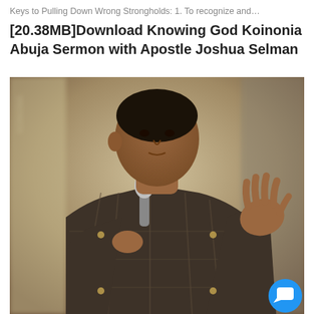Keys to Pulling Down Wrong Strongholds: 1. To recognize and…
[20.38MB]Download Knowing God Koinonia Abuja Sermon with Apostle Joshua Selman
[Figure (photo): Apostle Joshua Selman speaking at Koinonia Abuja, holding a microphone in one hand and gesturing with the other, wearing a dark plaid African-style shirt, against a blurred stage background.]